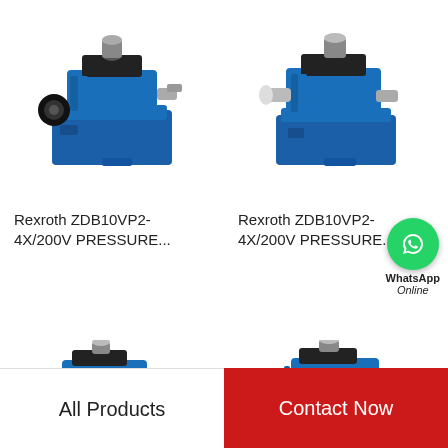[Figure (photo): Rexroth ZDB10VP2-4X/200V hydraulic pressure valve, blue body with black knob, top view angle]
[Figure (photo): Rexroth ZDB10VP2-4X/200V hydraulic pressure valve, blue body, similar model, right side]
Rexroth ZDB10VP2-4X/200V PRESSURE...
Rexroth ZDB10VP2-4X/200V PRESSURE...
[Figure (photo): Rexroth hydraulic pressure valve, blue compact unit, front-left angle]
[Figure (photo): Rexroth hydraulic pressure valve, blue with black knob, front-right angle]
All Products
Contact Now
[Figure (logo): WhatsApp icon with 'WhatsApp Online' label overlay]